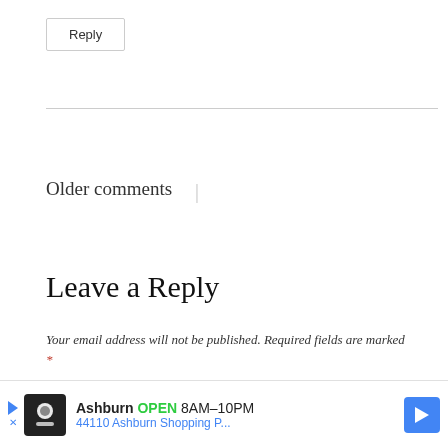Reply
Older comments |
Leave a Reply
Your email address will not be published. Required fields are marked *
Comment *
[Figure (infographic): Advertisement banner: Ashburn OPEN 8AM-10PM, 44110 Ashburn Shopping P...]